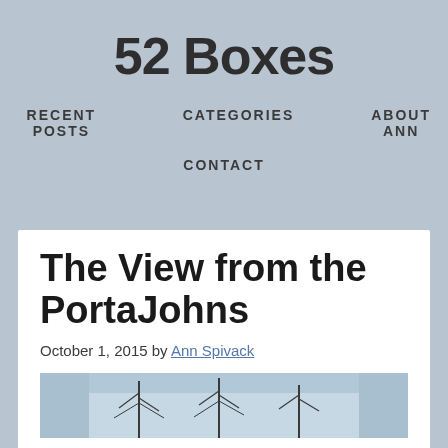52 Boxes
RECENT POSTS   CATEGORIES   ABOUT ANN   CONTACT
The View from the PortaJohns
October 1, 2015 by Ann Spivack
[Figure (photo): Outdoor winter scene with snow-covered trees against a pale sky, partially visible at the bottom of the page]